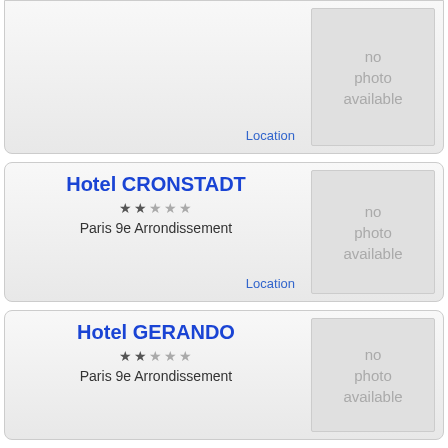[Figure (other): Partial hotel listing card (top cut off) with no photo placeholder and a Location link]
Location
Hotel CRONSTADT
***** Paris 9e Arrondissement
Location
[Figure (other): No photo available placeholder for Hotel CRONSTADT]
Hotel GERANDO
***** Paris 9e Arrondissement
[Figure (other): No photo available placeholder for Hotel GERANDO]